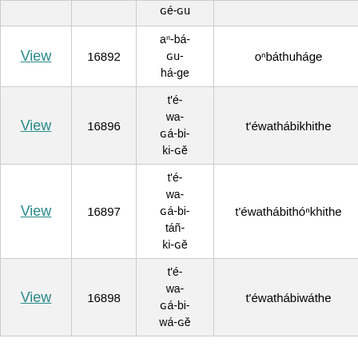|  |  |  |  |  |
| --- | --- | --- | --- | --- |
|  |  | ɢé-ɢu |  |  |
| View | 16892 | aⁿ-bá-
ɢu-
há-ge | oⁿbáthuháge | n.phrase |
| View | 16896 | t'é-
wa-
ɢá-bi-
ki-ɢě | t'éwathábikhithe |  |
| View | 16897 | t'é-
wa-
ɢá-bi-
táñ-
ki-ɢě | t'éwathábithóⁿkhithe |  |
| View | 16898 | t'é-
wa-
ɢá-bi-
wá-ɢě | t'éwathábiwáthe |  |